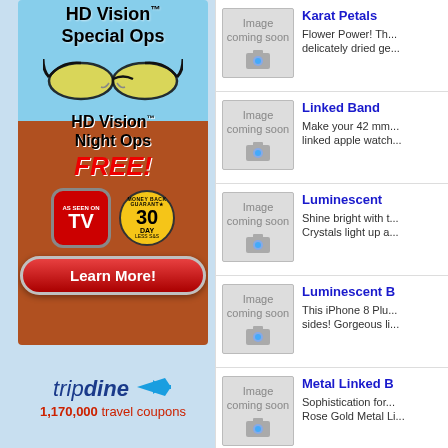[Figure (infographic): HD Vision Special Ops advertisement with yellow-tinted sunglasses, HD Vision Night Ops FREE offer, As Seen on TV badge, 30 Day Money Back Guarantee badge, and Learn More button]
[Figure (logo): tripdine logo with airplane icon and text '1,170,000 travel coupons']
Karat Petals
Flower Power! Th... delicately dried ge...
[Figure (photo): Image coming soon placeholder with camera icon]
Linked Band
Make your 42 mm... linked apple watch...
[Figure (photo): Image coming soon placeholder with camera icon]
Luminescent
Shine bright with t... Crystals light up a...
[Figure (photo): Image coming soon placeholder with camera icon]
Luminescent B
This iPhone 8 Plu... sides! Gorgeous li...
[Figure (photo): Image coming soon placeholder with camera icon]
Metal Linked B
Sophistication for... Rose Gold Metal Li...